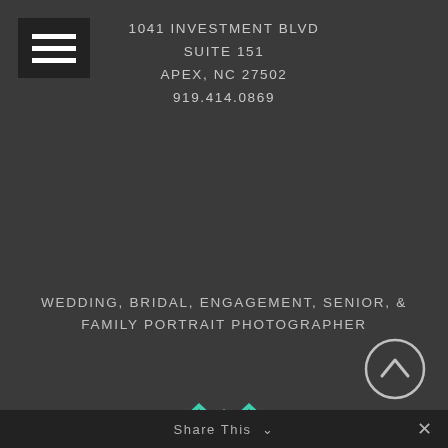[Figure (logo): Hamburger/menu icon — three horizontal white bars on dark background]
1041 INVESTMENT BLVD
SUITE 151
APEX, NC 27502
919.414.0869
WEDDING, BRIDAL, ENGAGEMENT, SENIOR, &
FAMILY PORTRAIT PHOTOGRAPHER
[Figure (logo): Expertise.com badge with teal infinity-style diamond logo, laurel wreath, text: Expertise, Best Wedding Photographers in Raleigh]
[Figure (other): Circular scroll-up chevron button]
Share This ∨